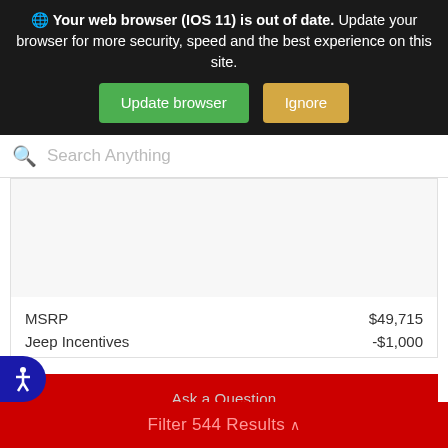Your web browser (IOS 11) is out of date. Update your browser for more security, speed and the best experience on this site.
Update browser
Ignore
Search Anything
[Figure (screenshot): Empty white image placeholder area for a vehicle listing]
|  |  |
| --- | --- |
| MSRP | $49,715 |
| Jeep Incentives | -$1,000 |
Ask a Question
Check Availability
Filter 544 Results ^